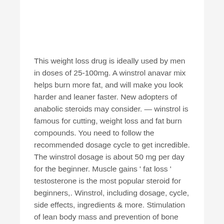This weight loss drug is ideally used by men in doses of 25-100mg. A winstrol anavar mix helps burn more fat, and will make you look harder and leaner faster. New adopters of anabolic steroids may consider. — winstrol is famous for cutting, weight loss and fat burn compounds. You need to follow the recommended dosage cycle to get incredible. The winstrol dosage is about 50 mg per day for the beginner. Muscle gains ' fat loss ' testosterone is the most popular steroid for beginners,. Winstrol, including dosage, cycle, side effects, ingredients & more. Stimulation of lean body mass and prevention of bone loss in elderly men, as some studies indicate. However, a 2006